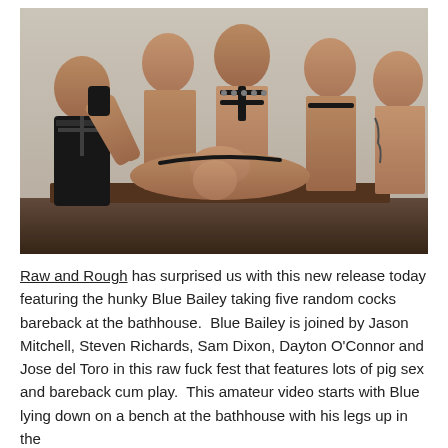[Figure (photo): Group photo of five men in a bathhouse setting, some wearing leather harnesses and gear.]
Raw and Rough has surprised us with this new release today featuring the hunky Blue Bailey taking five random cocks bareback at the bathhouse.  Blue Bailey is joined by Jason Mitchell, Steven Richards, Sam Dixon, Dayton O'Connor and Jose del Toro in this raw fuck fest that features lots of pig sex and bareback cum play.  This amateur video starts with Blue lying down on a bench at the bathhouse with his legs up in the